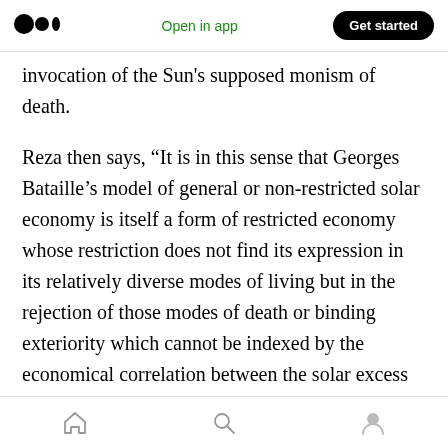Open in app | Get started
invocation of the Sun's supposed monism of death.
Reza then says, “It is in this sense that Georges Bataille’s model of general or non-restricted solar economy is itself a form of restricted economy whose restriction does not find its expression in its relatively diverse modes of living but in the rejection of those modes of death or binding exteriority which cannot be indexed by the economical correlation between the solar excess and the conservative structures of the terrestrial
Home | Search | Profile